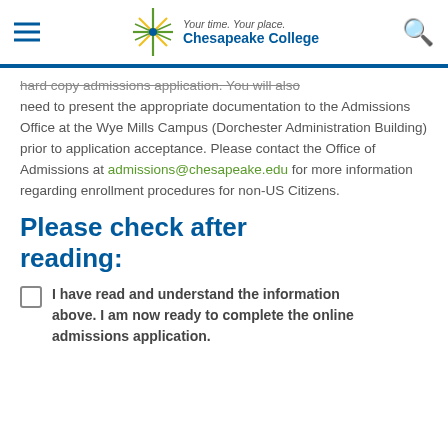Your time. Your place. Chesapeake College
hard copy admissions application. You will also need to present the appropriate documentation to the Admissions Office at the Wye Mills Campus (Dorchester Administration Building) prior to application acceptance. Please contact the Office of Admissions at admissions@chesapeake.edu for more information regarding enrollment procedures for non-US Citizens.
Please check after reading:
I have read and understand the information above. I am now ready to complete the online admissions application.